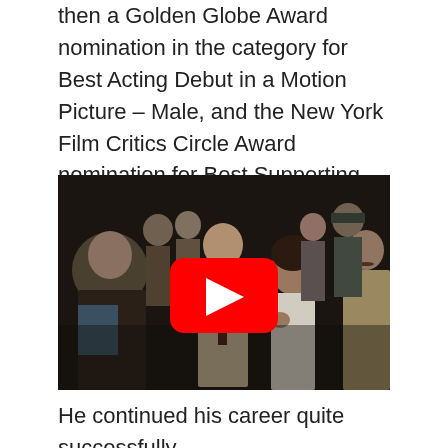then a Golden Globe Award nomination in the category for Best Acting Debut in a Motion Picture – Male, and the New York Film Critics Circle Award nomination for Best Supporting Actor.
[Figure (screenshot): A black-and-white film still showing multiple actors in a crowded scene, with a YouTube play button overlay in the center, indicating an embedded video.]
He continued his career quite successfully,